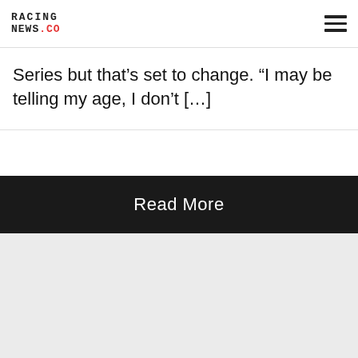RACING NEWS.CO
Series but that’s set to change. “I may be telling my age, I don’t [...]
Read More